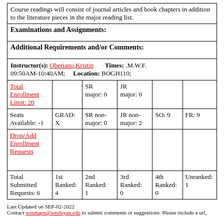Course readings will consist of journal articles and book chapters in addition to the literature pieces in the major reading list.
| Examinations and Assignments: |  |
| Additional Requirements and/or Comments: |  |
| Instructor(s): Oberiano,Kristin    Times: .M.W.F. 09:50AM-10:40AM;    Location: BOGH110; |  |
| Total Enrollment Limit: 20 |  | SR major: 0 | JR major: 0 |  |  |
| --- | --- | --- | --- | --- | --- |
| Seats Available: -1 | GRAD: X | SR non-major: 0 | JR non-major: 2 | SO: 9 | FR: 9 |
| Drop/Add Enrollment Requests |  |  |  |  |  |
| Total Submitted Requests: 6 | 1st Ranked: 4 | 2nd Ranked: 1 | 3rd Ranked: 0 | 4th Ranked: 0 | Unranked: 1 |
Last Updated on SEP-02-2022
Contact wesmaps@wesleyan.edu to submit comments or suggestions. Please include a url,